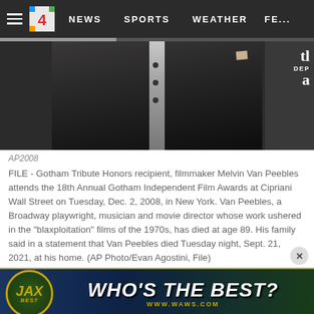NEWS  SPORTS  WEATHER  FE...
[Figure (photo): Man in dark suit with shirt and pocket square, partial torso shot, with IDP logo overlay on right side]
AP2008
FILE - Gotham Tribute Honors recipient, filmmaker Melvin Van Peebles attends the 18th Annual Gotham Independent Film Awards at Cipriani Wall Street on Tuesday, Dec. 2, 2008, in New York. Van Peebles, a Broadway playwright, musician and movie director whose work ushered in the "blaxploitation" films of the 1970s, has died at age 89. His family said in a statement that Van Peebles died Tuesday night, Sept. 21, 2021, at his home. (AP Photo/Evan Agostini, File)
[Figure (infographic): JAX Best advertisement banner: circular JAX BEST logo on left, WHO'S THE BEST? text on dark blue/green background with gold border]